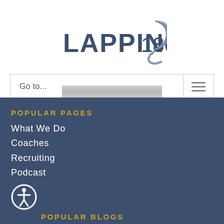[Figure (logo): Lappin180 company logo with stylized arrow/D shape in steel blue-gray]
Go to...
POPULAR PAGES
What We Do
Coaches
Recruiting
Podcast
[Figure (illustration): Accessibility icon: person in circle]
POPULAR BLOGS